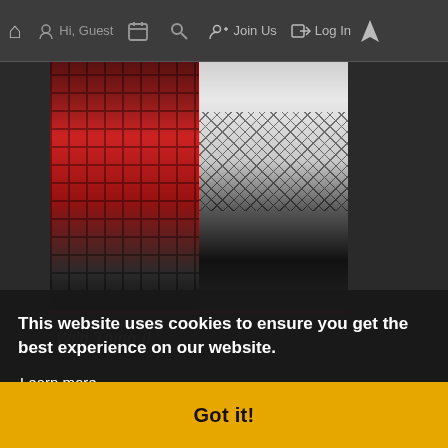Hi, Guest  Join Us  Log In
[Figure (illustration): 3D rendered figures wearing gothic/punk clothing — one in a red plaid corset with black wrist cuff, another in fishnet stockings with black platform boots. Grey studio background.]
Wild Thing II
This website uses cookies to ensure you get the best experience on our website.
Learn more
Got it!